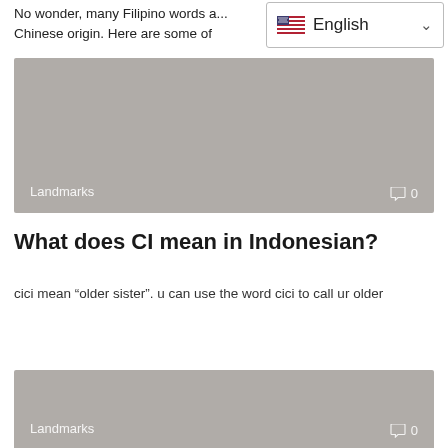No wonder, many Filipino words a... Chinese origin. Here are some of
[Figure (screenshot): Language selector dropdown showing English with US flag]
[Figure (photo): Gray image block labeled Landmarks with comment count 0]
What does CI mean in Indonesian?
cici mean “older sister”. u can use the word cici to call ur older
[Figure (photo): Gray image block labeled Landmarks with comment count 0]